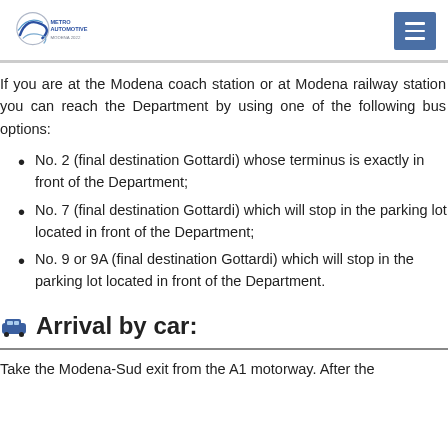[Figure (logo): Metro Automotive Modena 2022 logo with circular swoosh graphic]
If you are at the Modena coach station or at Modena railway station you can reach the Department by using one of the following bus options:
No. 2 (final destination Gottardi) whose terminus is exactly in front of the Department;
No. 7 (final destination Gottardi) which will stop in the parking lot located in front of the Department;
No. 9 or 9A (final destination Gottardi) which will stop in the parking lot located in front of the Department.
Arrival by car:
Take the Modena-Sud exit from the A1 motorway. After the